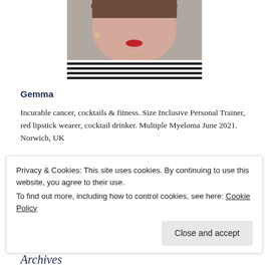[Figure (photo): Photo of Gemma, a woman with red lipstick wearing a black and white striped top, cropped to show face and upper torso]
Gemma
Incurable cancer, cocktails & fitness. Size Inclusive Personal Trainer, red lipstick wearer, cocktail drinker. Multiple Myeloma June 2021. Norwich, UK
[Figure (other): Social media icons: Instagram (pink), Facebook (blue), Twitter (light blue)]
Privacy & Cookies: This site uses cookies. By continuing to use this website, you agree to their use.
To find out more, including how to control cookies, see here: Cookie Policy
Close and accept
Archives